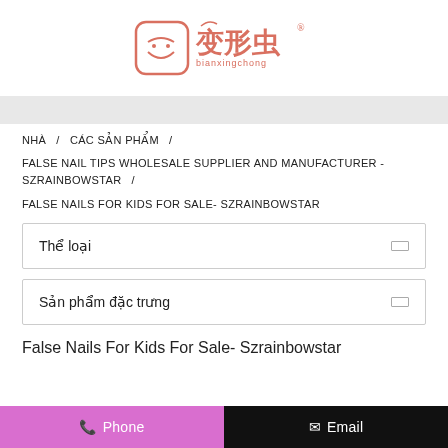[Figure (logo): Bianxingchong brand logo with Chinese characters and stylized insect icon in coral/pink color]
NHÀ / CÁC SẢN PHẨM /
FALSE NAIL TIPS WHOLESALE SUPPLIER AND MANUFACTURER - SZRAINBOWSTAR /
FALSE NAILS FOR KIDS FOR SALE- SZRAINBOWSTAR
Thể loại
Sản phẩm đặc trưng
False Nails For Kids For Sale- Szrainbowstar
📞 Phone    ✉ Email